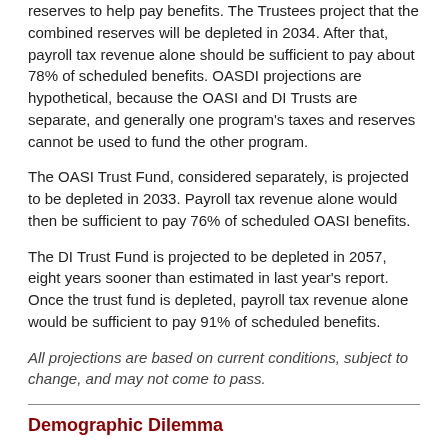reserves to help pay benefits. The Trustees project that the combined reserves will be depleted in 2034. After that, payroll tax revenue alone should be sufficient to pay about 78% of scheduled benefits. OASDI projections are hypothetical, because the OASI and DI Trusts are separate, and generally one program's taxes and reserves cannot be used to fund the other program.
The OASI Trust Fund, considered separately, is projected to be depleted in 2033. Payroll tax revenue alone would then be sufficient to pay 76% of scheduled OASI benefits.
The DI Trust Fund is projected to be depleted in 2057, eight years sooner than estimated in last year's report. Once the trust fund is depleted, payroll tax revenue alone would be sufficient to pay 91% of scheduled benefits.
All projections are based on current conditions, subject to change, and may not come to pass.
Demographic Dilemma
As the U.S. population ages, the number of workers per Social Security beneficiary is dropping.
[Figure (line-chart): Partial line chart visible at bottom of page showing value starting at 6 on y-axis with a data point labeled 5.1]